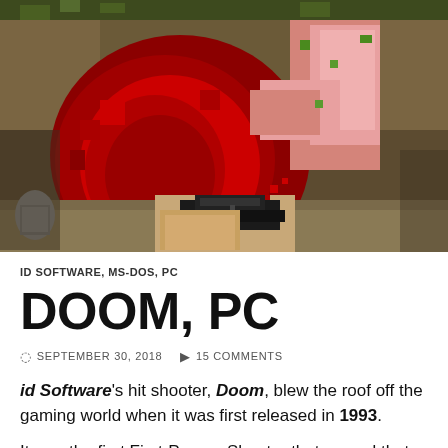[Figure (screenshot): Pixelated first-person shooter screenshot from Doom PC game, showing a demon enemy and a pistol held by the player character.]
ID SOFTWARE, MS-DOS, PC
DOOM, PC
SEPTEMBER 30, 2018   15 COMMENTS
id Software's hit shooter, Doom, blew the roof off the gaming world when it was first released in 1993.
It was the first First-Person Shooter that proved that...